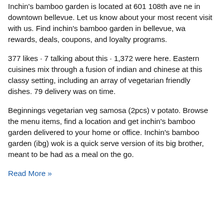Inchin's bamboo garden is located at 601 108th ave ne in downtown bellevue. Let us know about your most recent visit with us. Find inchin's bamboo garden in bellevue, wa rewards, deals, coupons, and loyalty programs.
377 likes · 7 talking about this · 1,372 were here. Eastern cuisines mix through a fusion of indian and chinese at this classy setting, including an array of vegetarian friendly dishes. 79 delivery was on time.
Beginnings vegetarian veg samosa (2pcs) v potato. Browse the menu items, find a location and get inchin's bamboo garden delivered to your home or office. Inchin's bamboo garden (ibg) wok is a quick serve version of its big brother, meant to be had as a meal on the go.
Read More »